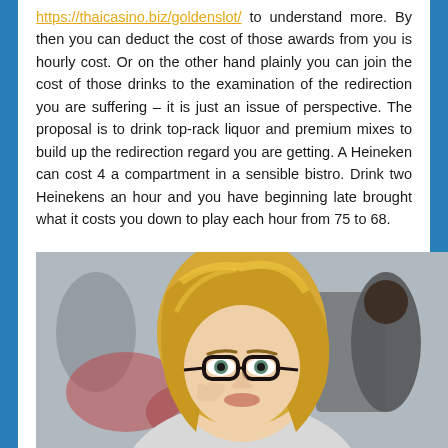https://thaicasino.biz/goldenslot/ to understand more. By then you can deduct the cost of those awards from you is hourly cost. Or on the other hand plainly you can join the cost of those drinks to the examination of the redirection you are suffering – it is just an issue of perspective. The proposal is to drink top-rack liquor and premium mixes to build up the redirection regard you are getting. A Heineken can cost 4 a compartment in a sensible bistro. Drink two Heinekens an hour and you have beginning late brought what it costs you down to play each hour from 75 to 68.
[Figure (photo): A blonde woman with glasses looking up, with a blurred background showing other people]